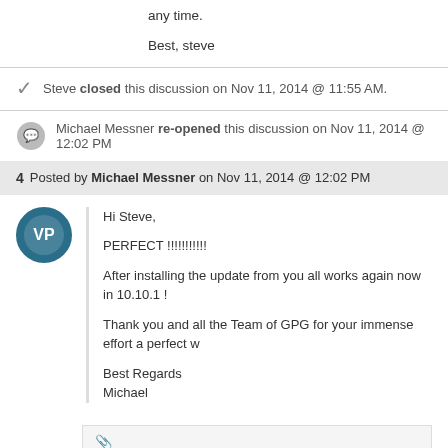any time.

Best, steve
Steve closed this discussion on Nov 11, 2014 @ 11:55 AM.
Michael Messner re-opened this discussion on Nov 11, 2014 @ 12:02 PM
4  Posted by Michael Messner on Nov 11, 2014 @ 12:02 PM
Hi Steve,

PERFECT !!!!!!!!!!!

After installing the update from you all works again now in 10.10.1 !

Thank you and all the Team of GPG for your immense effort a perfect w

Best Regards
Michael